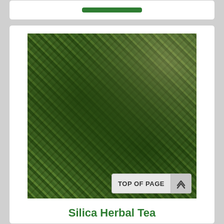[Figure (photo): Close-up photograph of dried mixed herbal tea leaves and stems showing various shades of green, dark green, and light yellow-green plant material]
Silica Herbal Tea